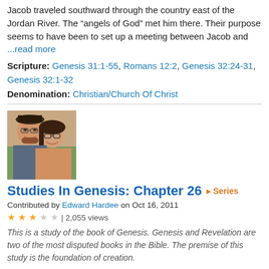Jacob traveled southward through the country east of the Jordan River. The “angels of God” met him there. Their purpose seems to have been to set up a meeting between Jacob and …read more
Scripture: Genesis 31:1-55, Romans 12:2, Genesis 32:24-31, Genesis 32:1-32
Denomination: Christian/Church Of Christ
[Figure (photo): Photo of two people, a man and a woman, smiling together in a selfie-style photo]
Studies In Genesis: Chapter 26 ▸ Series
Contributed by Edward Hardee on Oct 16, 2011
★★★☆☆ | 2,055 views
This is a study of the book of Genesis. Genesis and Revelation are two of the most disputed books in the Bible. The premise of this study is the foundation of creation.